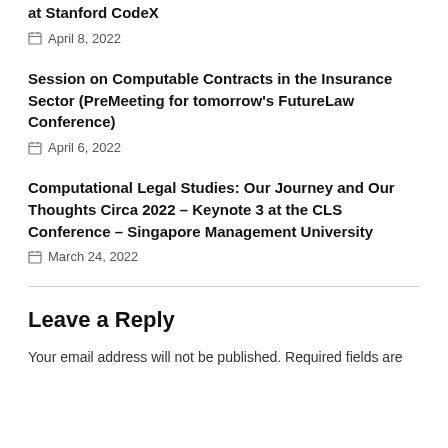at Stanford CodeX
April 8, 2022
Session on Computable Contracts in the Insurance Sector (PreMeeting for tomorrow’s FutureLaw Conference)
April 6, 2022
Computational Legal Studies: Our Journey and Our Thoughts Circa 2022 – Keynote 3 at the CLS Conference – Singapore Management University
March 24, 2022
Leave a Reply
Your email address will not be published. Required fields are